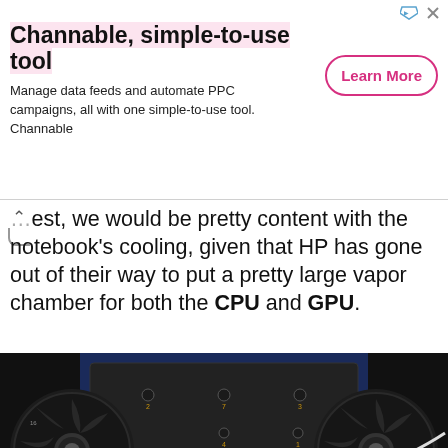[Figure (screenshot): Advertisement banner for Channable tool with title, subtitle, and Learn More button]
…est, we would be pretty content with the notebook's cooling, given that HP has gone out of their way to put a pretty large vapor chamber for both the CPU and GPU.
[Figure (photo): Interior photo of a laptop showing two cooling fans, a large vapor chamber/heat spreader over the CPU and GPU, and blue circuit board (G3FD label visible on the heat spreader)]